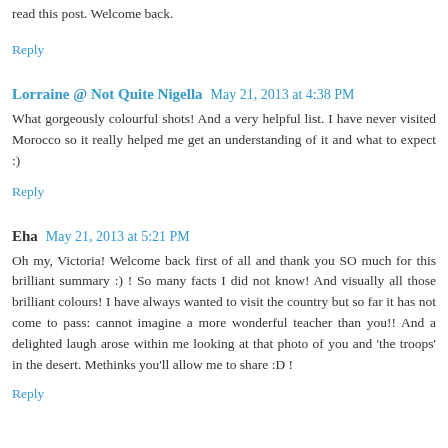read this post. Welcome back.
Reply
Lorraine @ Not Quite Nigella  May 21, 2013 at 4:38 PM
What gorgeously colourful shots! And a very helpful list. I have never visited Morocco so it really helped me get an understanding of it and what to expect :)
Reply
Eha  May 21, 2013 at 5:21 PM
Oh my, Victoria! Welcome back first of all and thank you SO much for this brilliant summary :) ! So many facts I did not know! And visually all those brilliant colours! I have always wanted to visit the country but so far it has not come to pass: cannot imagine a more wonderful teacher than you!! And a delighted laugh arose within me looking at that photo of you and 'the troops' in the desert. Methinks you'll allow me to share :D !
Reply